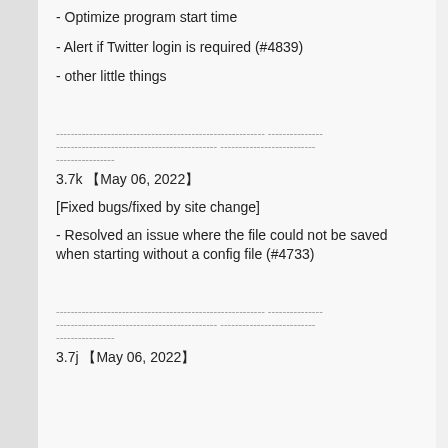- Optimize program start time
- Alert if Twitter login is required (#4839)
- other little things
3.7k &#12304;May 06, 2022&#12305;
[Fixed bugs/fixed by site change]
- Resolved an issue where the file could not be saved when starting without a config file (#4733)
3.7j &#12304;May 06, 2022&#12305;